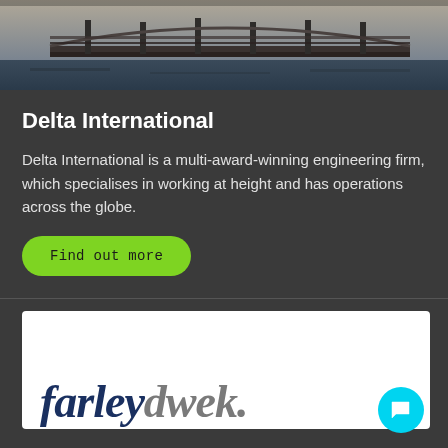[Figure (photo): Aerial or elevated view of a bridge over water, dark steel structure visible against sky and river]
Delta International
Delta International is a multi-award-winning engineering firm, which specialises in working at height and has operations across the globe.
Find out more
[Figure (logo): farleydwek. logo in dark blue and gray serif font on white background]
[Figure (other): Cyan circular chat bubble button in bottom right corner]